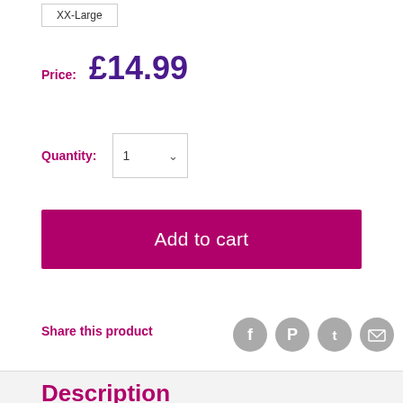XX-Large
Price: £14.99
Quantity: 1
Add to cart
Share this product
[Figure (infographic): Social sharing icons: Facebook, Pinterest, Twitter, Email — circular grey buttons]
Description